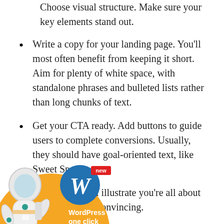Choose visual structure. Make sure your key elements stand out.
Write a copy for your landing page. You'll most often benefit from keeping it short. Aim for plenty of white space, with standalone phrases and bulleted lists rather than long chunks of text.
Get your CTA ready. Add buttons to guide users to complete conversions. Usually, they should have goal-oriented text, like Sweet Spot.
[Figure (illustration): Advertisement overlay showing an astronaut in a white suit, an orange circle background, WordPress logo circle in blue with W, a red 'new' badge, bold white text reading 'WordPress one click no-code integration', small domain text 'Grailtec.net', and a grey close button with X.]
…nages. They will illustrate …you're all about and make …more convincing.
Get your social proof ready. Customer testimonials enable users to relate to using…